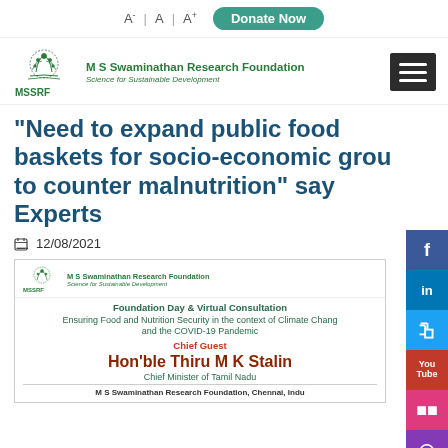A-  |  A  |  A+   Donate Now
[Figure (logo): MSSRF logo with green emblem and text 'M S Swaminathan Research Foundation, Science for Sustainable Development']
“Need to expand public food baskets for socio-economic groups to counter malnutrition” say Experts
12/08/2021
[Figure (infographic): MSSRF Foundation Day & Virtual Consultation event card. Title: Ensuring Food and Nutrition Security in the context of Climate Change and the COVID-19 Pandemic. Chief Guest: Hon'ble Thiru M K Stalin, Chief Minister of Tamil Nadu. M S Swaminathan Research Foundation, Chennai, India.]